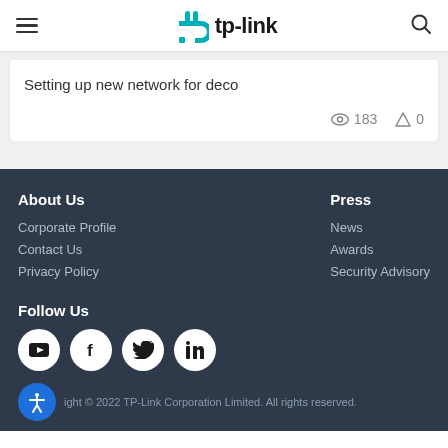TP-Link
Setting up new network for deco
183 views  0 replies
About Us
Corporate Profile
Contact Us
Privacy Policy
Press
News
Awards
Security Advisory
Follow Us
[Figure (illustration): Social media icons: YouTube, Facebook, Twitter, LinkedIn in white circles on dark background]
Copyright © 2022 TP-Link Corporation Limited. All rights reserved.